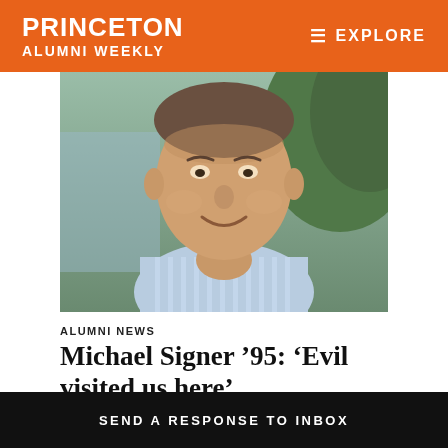PRINCETON ALUMNI WEEKLY
EXPLORE
[Figure (photo): Portrait photo of Michael Signer, a middle-aged man smiling, wearing a blue striped shirt, with greenery in the background.]
ALUMNI NEWS
Michael Signer ’95: ‘Evil visited us here’
[Figure (photo): Partial bottom strip of another photo showing red and green tones, partially visible at bottom of content area.]
SEND A RESPONSE TO INBOX